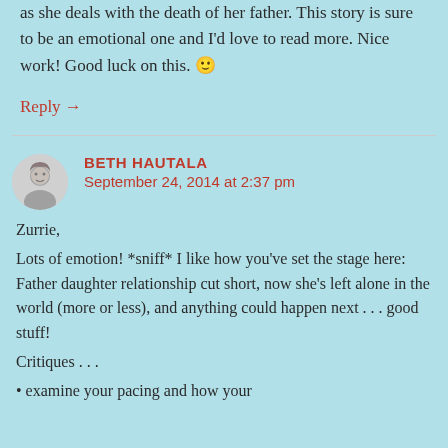as she deals with the death of her father. This story is sure to be an emotional one and I'd love to read more. Nice work! Good luck on this. 🙂
Reply →
BETH HAUTALA
September 24, 2014 at 2:37 pm
Zurrie,
Lots of emotion! *sniff* I like how you've set the stage here: Father daughter relationship cut short, now she's left alone in the world (more or less), and anything could happen next . . . good stuff!
Critiques . . .
• examine your pacing and how your